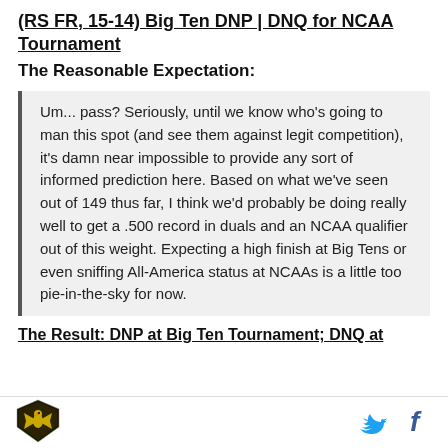(RS FR, 15-14) Big Ten DNP | DNQ for NCAA Tournament
The Reasonable Expectation:
Um... pass? Seriously, until we know who's going to man this spot (and see them against legit competition), it's damn near impossible to provide any sort of informed prediction here. Based on what we've seen out of 149 thus far, I think we'd probably be doing really well to get a .500 record in duals and an NCAA qualifier out of this weight. Expecting a high finish at Big Tens or even sniffing All-America status at NCAAs is a little too pie-in-the-sky for now.
The Result: DNP at Big Ten Tournament; DNQ at
[Figure (logo): Sports team logo — shield/crest shape with eagle and gold/black colors]
[Figure (logo): Twitter bird icon in blue]
[Figure (logo): Facebook f icon in dark blue]